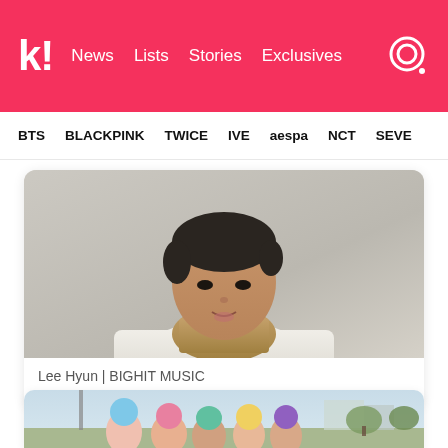k! News Lists Stories Exclusives
BTS  BLACKPINK  TWICE  IVE  aespa  NCT  SEVE
[Figure (photo): Portrait photo of Lee Hyun wearing a camel turtleneck sweater and white blazer, against a light grey background]
Lee Hyun | BIGHIT MUSIC
[Figure (photo): Group photo of K-pop artists outdoors, cropped at bottom of page, with colorful hair and outdoor scenery visible]